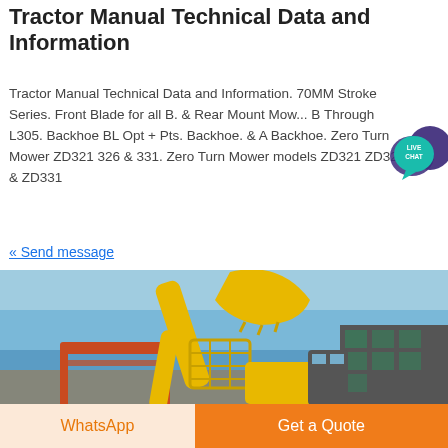Tractor Manual Technical Data and Information
Tractor Manual Technical Data and Information. 70MM Stroke Series. Front Blade for all B. & Rear Mount Mow... B Through L305. Backhoe BL Opt + Pts. Backhoe. & A Backhoe. Zero Turn Mower ZD321 326 & 331. Zero Turn Mower models ZD321 ZD326 & ZD331
« Send message
[Figure (photo): Yellow construction backhoe/loader machinery with raised arm and bucket, photographed against a clear blue sky, with a building visible in the background]
WhatsApp
Get a Quote